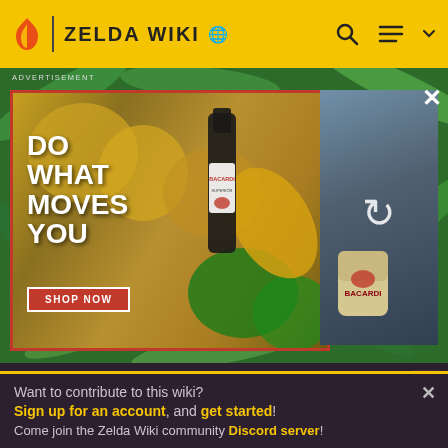ZELDA WIKI
[Figure (screenshot): Bacardi advertisement banner with tropical fruits background showing 'DO WHAT MOVES YOU' text, SHOP NOW button, and secondary panel with reload icon]
and spirit sections.
Minor Enemies and Traps
[Figure (screenshot): Two thumbnail images of game enemies/traps on dark background]
Want to contribute to this wiki? Sign up for an account, and get started! Come join the Zelda Wiki community Discord server!